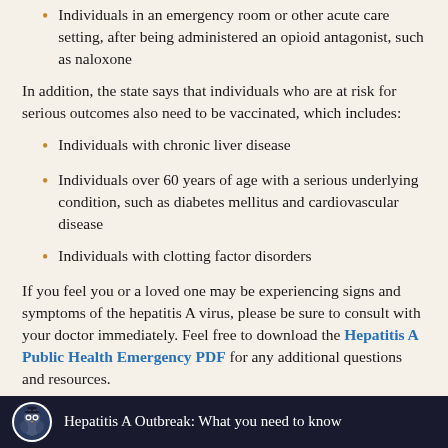Individuals in an emergency room or other acute care setting, after being administered an opioid antagonist, such as naloxone
In addition, the state says that individuals who are at risk for serious outcomes also need to be vaccinated, which includes:
Individuals with chronic liver disease
Individuals over 60 years of age with a serious underlying condition, such as diabetes mellitus and cardiovascular disease
Individuals with clotting factor disorders
If you feel you or a loved one may be experiencing signs and symptoms of the hepatitis A virus, please be sure to consult with your doctor immediately. Feel free to download the Hepatitis A Public Health Emergency PDF for any additional questions and resources.
[Figure (other): Dark banner with owl logo and text: Hepatitis A Outbreak: What you need to know]